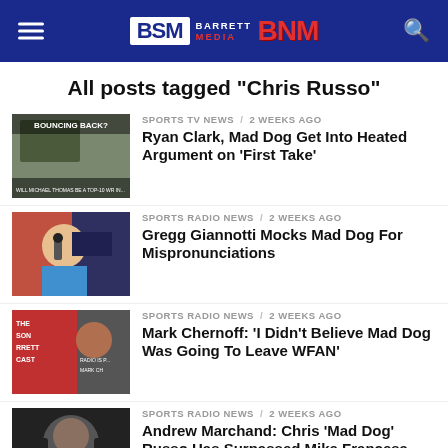BSM Barrett Media BNM
All posts tagged "Chris Russo"
[Figure (photo): Thumbnail: TV news show still with two men, text overlay 'BOUNCING BACK?']
SPORTS TV NEWS / 2 weeks ago
Ryan Clark, Mad Dog Get Into Heated Argument on 'First Take'
[Figure (photo): Thumbnail: Man speaking into microphone in radio studio, blue shirt]
SPORTS RADIO NEWS / 2 weeks ago
Gregg Giannotti Mocks Mad Dog For Mispronunciations
[Figure (photo): Thumbnail: BSM/Son Barrett Podcast promotional image with Mark Chernoff]
SPORTS RADIO NEWS / 2 weeks ago
Mark Chernoff: 'I Didn't Believe Mad Dog Was Going To Leave WFAN'
[Figure (photo): Thumbnail: Man wearing headphones in dark setting]
SPORTS RADIO NEWS / 2 weeks ago
Andrew Marchand: Chris 'Mad Dog' Russo Has Surpassed Mike Francesa